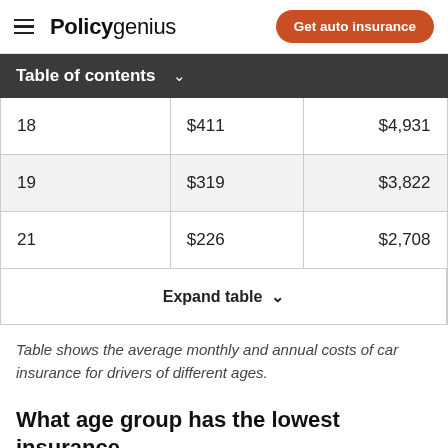Policygenius | Get auto insurance
Table of contents
| Age | Monthly | Annual |
| --- | --- | --- |
| 18 | $411 | $4,931 |
| 19 | $319 | $3,822 |
| 21 | $226 | $2,708 |
Table shows the average monthly and annual costs of car insurance for drivers of different ages.
What age group has the lowest insurance